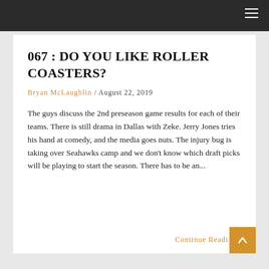067 : DO YOU LIKE ROLLER COASTERS?
Bryan McLaughlin / August 22, 2019
The guys discuss the 2nd preseason game results for each of their teams. There is still drama in Dallas with Zeke. Jerry Jones tries his hand at comedy, and the media goes nuts. The injury bug is taking over Seahawks camp and we don’t know which draft picks will be playing to start the season. There has to be an...
Continue Reading